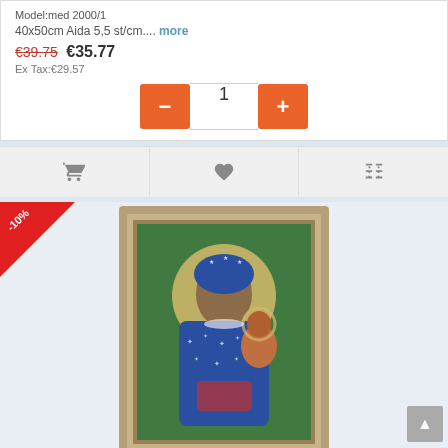Model:med 2000/1
40x50cm Aida 5,5 st/cm.... more
€39.75  €35.77
Ex Tax:€29.57
[Figure (screenshot): Quantity selector with minus and plus orange buttons and input showing 1]
[Figure (screenshot): Action bar with cart, wishlist, and compare icons]
[Figure (photo): Madonna of Czestochowa cross-stitch product image in gold frame with -10% discount badge]
Madonna of Czestochowa